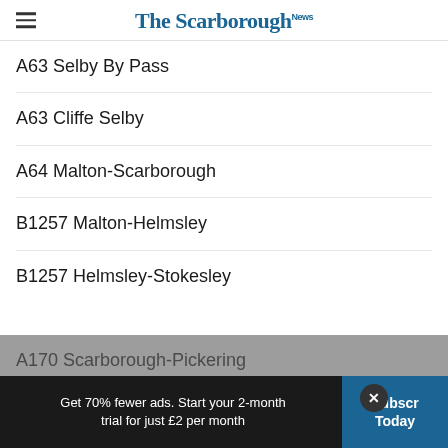The Scarborough News
A63 Selby By Pass
A63 Cliffe Selby
A64 Malton-Scarborough
B1257 Malton-Helmsley
B1257 Helmsley-Stokesley
A170 Scarborough-Pickering
Get 70% fewer ads. Start your 2-month trial for just £2 per month
Subscribe Today